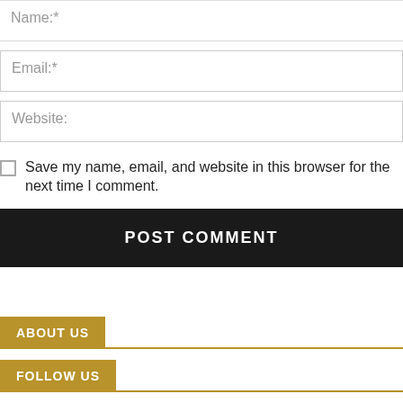Name:*
Email:*
Website:
Save my name, email, and website in this browser for the next time I comment.
POST COMMENT
ABOUT US
FOLLOW US